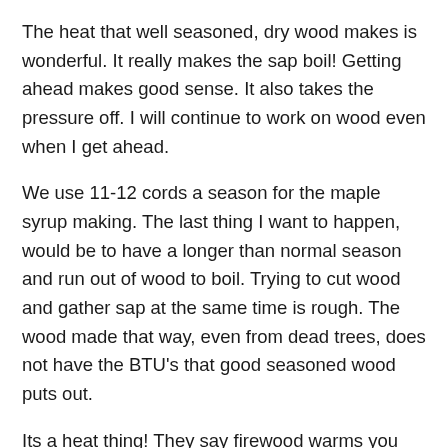The heat that well seasoned, dry wood makes is wonderful. It really makes the sap boil! Getting ahead makes good sense. It also takes the pressure off. I will continue to work on wood even when I get ahead.
We use 11-12 cords a season for the maple syrup making. The last thing I want to happen, would be to have a longer than normal season and run out of wood to boil. Trying to cut wood and gather sap at the same time is rough. The wood made that way, even from dead trees, does not have the BTU's that good seasoned wood puts out.
Its a heat thing! They say firewood warms you twice, once when you cut it and a second time when you burn it. I know wrestling big chunks through a log splitter in July will dang sure warm you! Seeing the large piles actually warms my heart too... no matter what the weather!